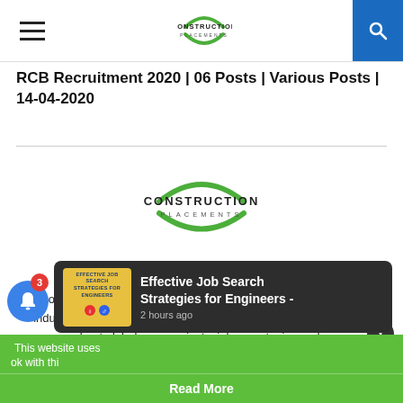Construction Placements — navigation header
RCB Recruitment 2020 | 06 Posts | Various Posts | 14-04-2020
[Figure (logo): Construction Placements logo — green arc circles with CONSTRUCTION PLACEMENTS text]
Admin
ConstructionPlacements helps professionals from construction industry to get regular feeds on recent industry news, information about global megaprojects, job opportuni...
This website uses ... ok with thi...
[Figure (other): Notification popup: Effective Job Search Strategies for Engineers - 2 hours ago]
Read More